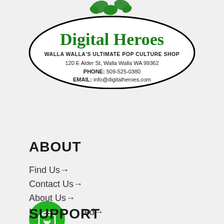[Figure (logo): Digital Heroes logo — oval border with green illustrated character above, large green 'Digital Heroes' text, subtext 'WALLA WALLA'S ULTIMATE POP CULTURE SHOP', address '120 E Alder St, Walla Walla WA 99362', phone 'PHONE: 509-525-0380', email 'EMAIL: info@digitalheroes.com']
ABOUT
Find Us→
Contact Us→
About Us→
How We Started→
[Figure (illustration): Green circular cart/shopping bag button with heart icon]
SUPPORT